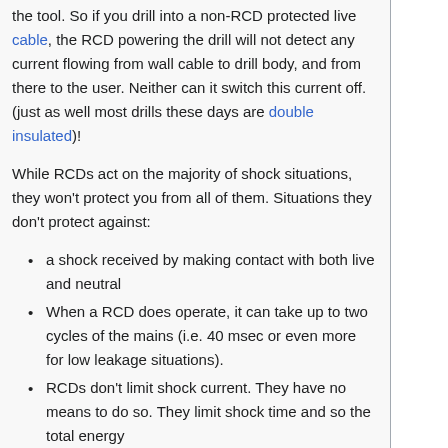the tool. So if you drill into a non-RCD protected live cable, the RCD powering the drill will not detect any current flowing from wall cable to drill body, and from there to the user. Neither can it switch this current off. (just as well most drills these days are double insulated)!
While RCDs act on the majority of shock situations, they won't protect you from all of them. Situations they don't protect against:
a shock received by making contact with both live and neutral
When a RCD does operate, it can take up to two cycles of the mains (i.e. 40 msec or even more for low leakage situations).
RCDs don't limit shock current. They have no means to do so. They limit shock time and so the total energy